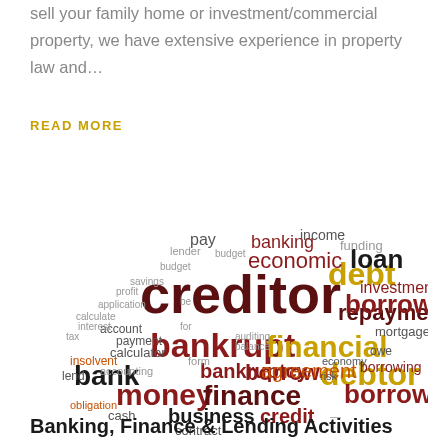sell your family home or investment/commercial property, we have extensive experience in property law and…
READ MORE
[Figure (infographic): Word cloud related to banking and finance terms. Central large word is 'creditor' in dark red/maroon. Other prominent words include: bankrupt, borrower, financial, bank, money, finance, debtor, borrow, bankruptcy, agreement, debt, loan, investment, economic, banking, pay, business, credit, contract, repayment, mortgage, borrowing, insolvent, lend, calculator, payment, account, income, form, cash, risk, economy, obligation, and many smaller terms in various shades of red, orange, dark brown/black.]
Banking, Finance & Lending Activities